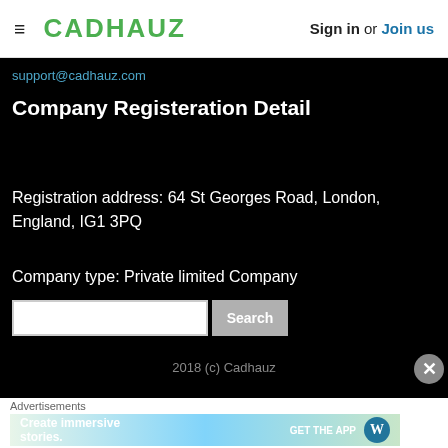≡  CADHAUZ    Sign in or Join us
support@cadhauz.com
Company Registeration Detail
Registration address: 64 St Georges Road, London, England, IG1 3PQ
Company type: Private limited Company
2019 (c) Cadhauz
Advertisements
[Figure (screenshot): WordPress advertisement banner: 'Create immersive stories. GET THE APP' with WordPress logo]